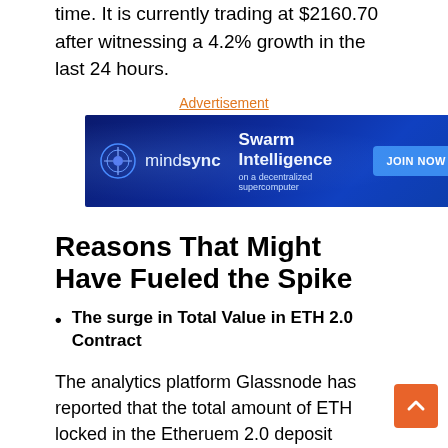time. It is currently trading at $2160.70 after witnessing a 4.2% growth in the last 24 hours.
Advertisement
[Figure (infographic): mindsync advertisement banner — 'Swarm Intelligence on a decentralized supercomputer' with JOIN NOW button]
Reasons That Might Have Fueled the Spike
The surge in Total Value in ETH 2.0 Contract
The analytics platform Glassnode has reported that the total amount of ETH locked in the Etheruem 2.0 deposit contract has reached a new high of $8049974417.34 worth of ETH